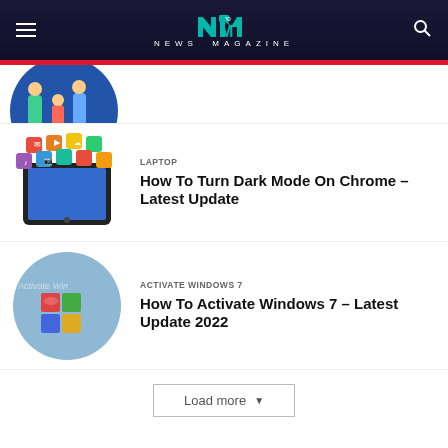NEWS MAGAZINE
[Figure (screenshot): Partial article image (top portion of a circular blue illustration with figures)]
[Figure (illustration): Tablet device with colorful app icons floating above it]
LAPTOP
How To Turn Dark Mode On Chrome – Latest Update
[Figure (screenshot): Circular blue badge with 'Activate Windows' text and Windows logo in center]
ACTIVATE WINDOWS 7
How To Activate Windows 7 – Latest Update 2022
Load more